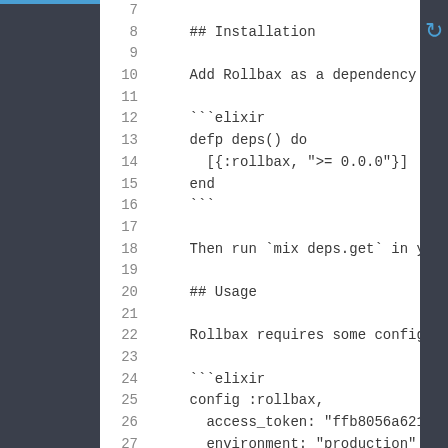Code editor view showing lines 7-27 of a Markdown/Elixir file with Rollbax library documentation including Installation and Usage sections
7: (empty)
8:     ## Installation
9: (empty)
10:     Add Rollbax as a dependency to yo
11: (empty)
12:     ```elixir
13:     defp deps() do
14:       [{:rollbax, ">= 0.0.0"}]
15:     end
16:     ```
17: (empty)
18:     Then run `mix deps.get` in your s
19: (empty)
20:     ## Usage
21: (empty)
22:     Rollbax requires some configurati
23: (empty)
24:     ```elixir
25:     config :rollbax,
26:       access_token: "ffb8056a621f309e
27:       environment: "production"